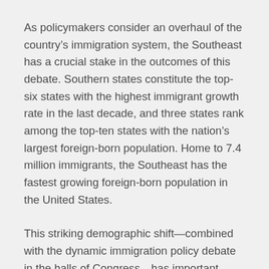As policymakers consider an overhaul of the country’s immigration system, the Southeast has a crucial stake in the outcomes of this debate. Southern states constitute the top-six states with the highest immigrant growth rate in the last decade, and three states rank among the top-ten states with the nation’s largest foreign-born population. Home to 7.4 million immigrants, the Southeast has the fastest growing foreign-born population in the United States.
This striking demographic shift—combined with the dynamic immigration policy debate in the halls of Congress—has important economic, civic, and social implications for the region. It also creates a timely opportunity for philanthropy to consider how best to